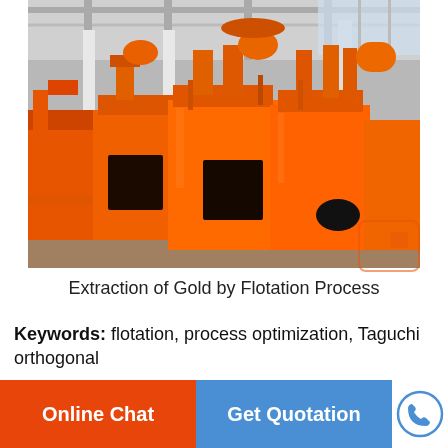[Figure (photo): Orange industrial flotation machine equipment lined up in a large factory/warehouse setting with white pillars and ceiling structure visible. Machines are large orange metal boxes with mechanical components on top.]
Extraction of Gold by Flotation Process
Keywords: flotation, process optimization, Taguchi orthogonal
Online Chat
Get Quotation